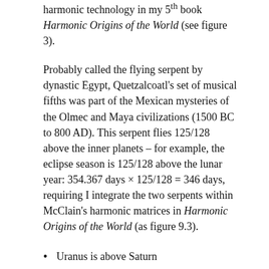harmonic technology in my 5th book Harmonic Origins of the World (see figure 3).
Probably called the flying serpent by dynastic Egypt, Quetzalcoatl's set of musical fifths was part of the Mexican mysteries of the Olmec and Maya civilizations (1500 BC to 800 AD). This serpent flies 125/128 above the inner planets – for example, the eclipse season is 125/128 above the lunar year: 354.367 days × 125/128 = 346 days, requiring I integrate the two serpents within McClain's harmonic matrices in Harmonic Origins of the World (as figure 9.3).
Uranus is above Saturn
The eclipse year is above the lunar year